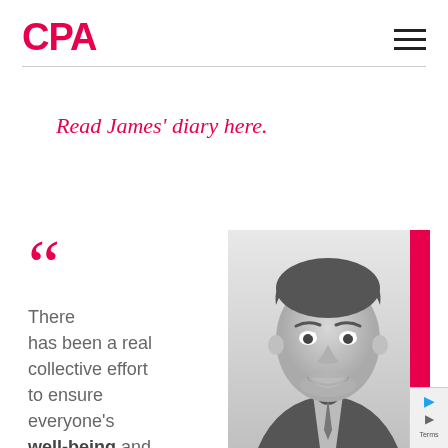CPA
Read James’ diary here.
[Figure (photo): Black and white portrait photo of a smiling young man in a suit, with a red vertical bar accent on the right side]
“There has been a real collective effort to ensure everyone’s well-being and more